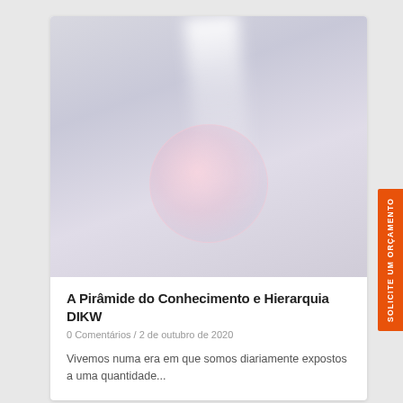[Figure (photo): Blurry photo of a circular bowl or dish with a straw/spoon, against a light grey-white background with a white light ray from above]
A Pirâmide do Conhecimento e Hierarquia DIKW
0 Comentários / 2 de outubro de 2020
Vivemos numa era em que somos diariamente expostos a uma quantidade...